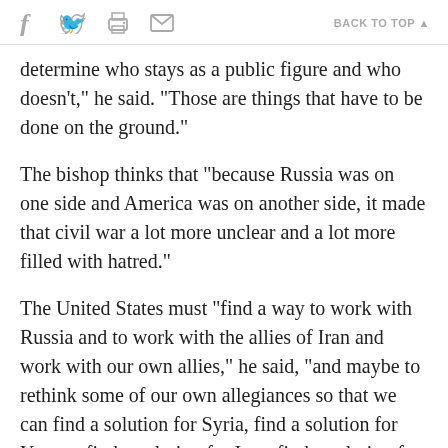f [twitter] [print] [mail]  BACK TO TOP ▲
determine who stays as a public figure and who doesn't," he said. "Those are things that have to be done on the ground."
The bishop thinks that "because Russia was on one side and America was on another side, it made that civil war a lot more unclear and a lot more filled with hatred."
The United States must "find a way to work with Russia and to work with the allies of Iran and work with our own allies," he said, "and maybe to rethink some of our own allegiances so that we can find a solution for Syria, find a solution for Yemen, find a solution for Iraq, find a solution for all the Middle East."
The need for humanitarian aid for Christians in the